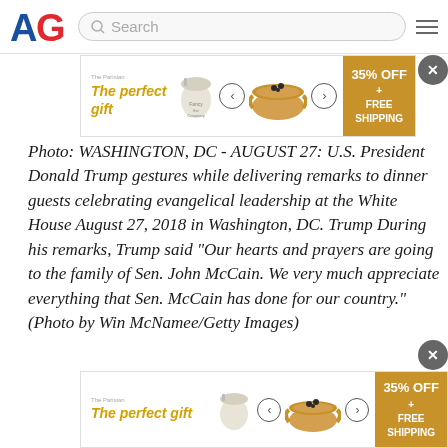AG [logo] Search [hamburger menu]
[Figure (screenshot): Advertisement banner: The perfect gift - 35% OFF + FREE SHIPPING]
Photo: WASHINGTON, DC - AUGUST 27: U.S. President Donald Trump gestures while delivering remarks to dinner guests celebrating evangelical leadership at the White House August 27, 2018 in Washington, DC. Trump During his remarks, Trump said "Our hearts and prayers are going to the family of Sen. John McCain. We very much appreciate everything that Sen. McCain has done for our country." (Photo by Win McNamee/Getty Images)
[Figure (screenshot): Advertisement banner bottom: The perfect gift - 35% OFF + FREE SHIPPING]